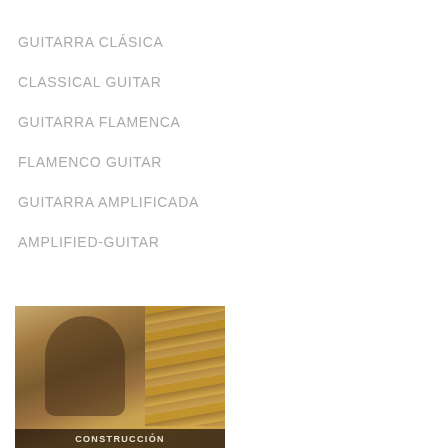GUITARRA CLÁSICA
CLASSICAL GUITAR
GUITARRA FLAMENCA
FLAMENCO GUITAR
GUITARRA AMPLIFICADA
AMPLIFIED-GUITAR
[Figure (photo): A person working on guitar construction in a workshop surrounded by wooden guitar molds or parts. Overlay text reads CONSTRUCCIÓN at the bottom.]